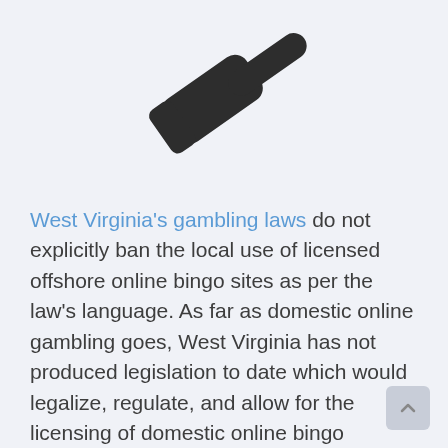[Figure (illustration): A dark/black gavel icon rotated diagonally, representing law or legal authority]
West Virginia’s gambling laws do not explicitly ban the local use of licensed offshore online bingo sites as per the law's language. As far as domestic online gambling goes, West Virginia has not produced legislation to date which would legalize, regulate, and allow for the licensing of domestic online bingo platforms. Using licensed offshore gambling sites is the best avenue to find legal online gaming entertainment in terms of bingo for WV residents.